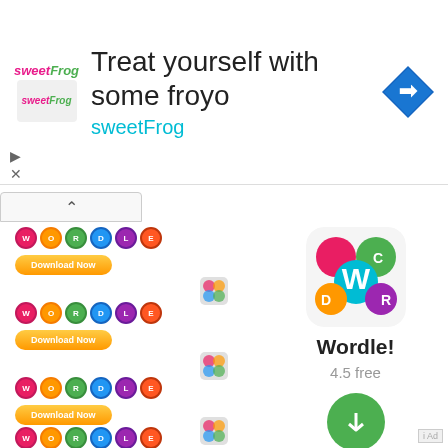[Figure (screenshot): SweetFrog frozen yogurt advertisement banner with logo, text 'Treat yourself with some froyo sweetFrog', navigation arrow icon, and close/play controls]
[Figure (screenshot): Mobile app store listing showing Wordle! app with colorful letter tile icon, rating 4.5 free, download button, and repeated Wordle logo/download button items in left column]